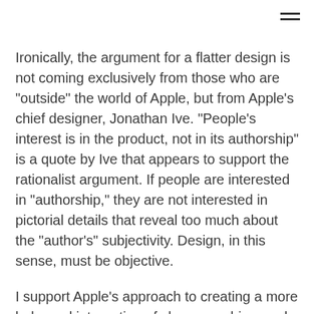☰
Ironically, the argument for a flatter design is not coming exclusively from those who are "outside" the world of Apple, but from Apple's chief designer, Jonathan Ive. "People's interest is in the product, not in its authorship" is a quote by Ive that appears to support the rationalist argument. If people are interested in "authorship," they are not interested in pictorial details that reveal too much about the "author's" subjectivity. Design, in this sense, must be objective.
I support Apple's approach to creating a more balanced integration of skeuomorphism and flat